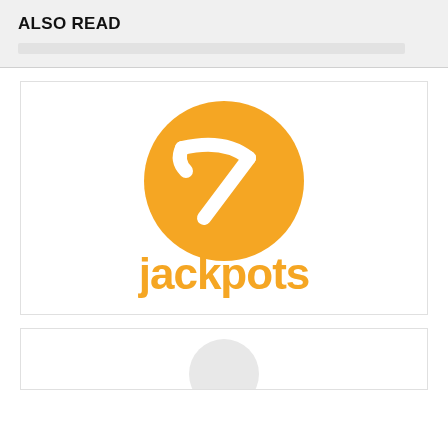ALSO READ
[Figure (logo): 7Jackpots casino logo: orange circle with a white stylized chevron/arrow '7' shape, with the word 'jackpots' in orange rounded font below]
[Figure (logo): Partially visible logo at the bottom of the page, cut off]